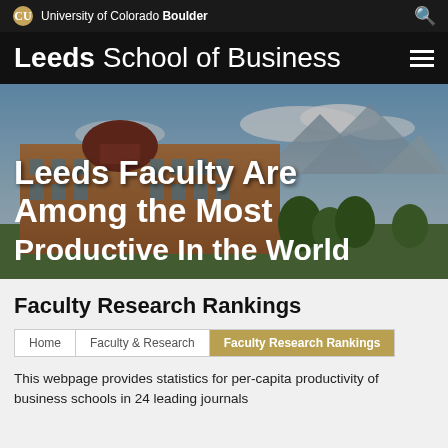University of Colorado Boulder
Leeds School of Business
[Figure (photo): Leeds School of Business building with mountain backdrop, hero image with overlay text: Leeds Faculty Are Among the Most Productive In the World]
Leeds Faculty Are Among the Most Productive In the World
Faculty Research Rankings
Home
Faculty & Research
Faculty Research Rankings
This webpage provides statistics for per-capita productivity of business schools in 24 leading journals